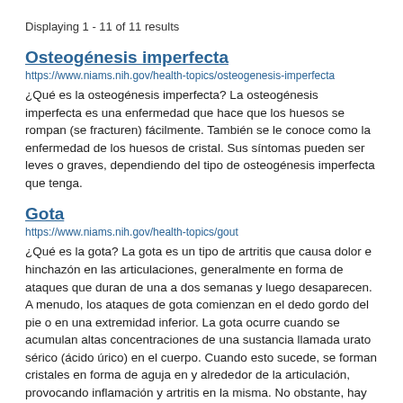Displaying 1 - 11 of 11 results
Osteogénesis imperfecta
https://www.niams.nih.gov/health-topics/osteogenesis-imperfecta
¿Qué es la osteogénesis imperfecta? La osteogénesis imperfecta es una enfermedad que hace que los huesos se rompan (se fracturen) fácilmente. También se le conoce como la enfermedad de los huesos de cristal. Sus síntomas pueden ser leves o graves, dependiendo del tipo de osteogénesis imperfecta que tenga.
Gota
https://www.niams.nih.gov/health-topics/gout
¿Qué es la gota? La gota es un tipo de artritis que causa dolor e hinchazón en las articulaciones, generalmente en forma de ataques que duran de una a dos semanas y luego desaparecen. A menudo, los ataques de gota comienzan en el dedo gordo del pie o en una extremidad inferior. La gota ocurre cuando se acumulan altas concentraciones de una sustancia llamada urato sérico (ácido úrico) en el cuerpo. Cuando esto sucede, se forman cristales en forma de aguja en y alrededor de la articulación, provocando inflamación y artritis en la misma. No obstante, hay muchas personas con